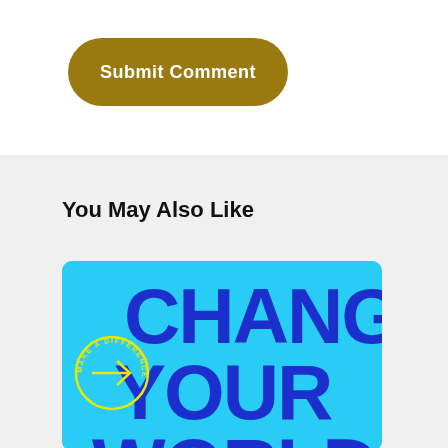Submit Comment
You May Also Like
[Figure (illustration): A cyan/light blue card with bold dark blue text reading CHANGE YOUR WORLD, with a circular yellow badge on the left containing an arrow and text reading MAKE A DIFFERENCE]